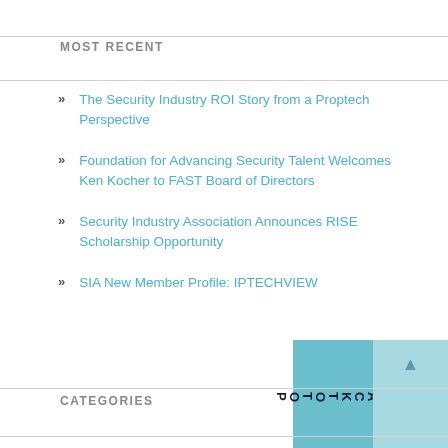MOST RECENT
The Security Industry ROI Story from a Proptech Perspective
Foundation for Advancing Security Talent Welcomes Ken Kocher to FAST Board of Directors
Security Industry Association Announces RISE Scholarship Opportunity
SIA New Member Profile: IPTECHVIEW
CATEGORIES